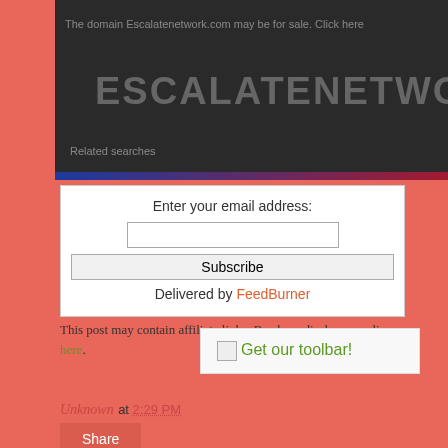The domain Escalatenetwork.com may be for sale. Click here
ESCALATENETWORK
Related searches
Enter your email address:
Subscribe
Delivered by FeedBurner
This post may contain affiliate links. Read my disclosure policy here.
[Figure (other): Get our toolbar! promotional image link]
Unknown at 2:29 PM
Share
No comments: